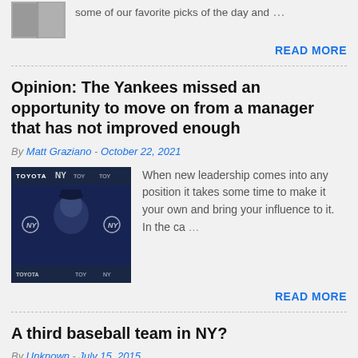some of our favorite picks of the day and
READ MORE
Opinion: The Yankees missed an opportunity to move on from a manager that has not improved enough
By Matt Graziano - October 22, 2021
[Figure (photo): Photo of a Yankees manager at a press conference with Toyota logos visible in background]
When new leadership comes into any position it takes some time to make it your own and bring your influence to it. In the ca...
READ MORE
A third baseball team in NY?
By Unknown - July 15, 2015